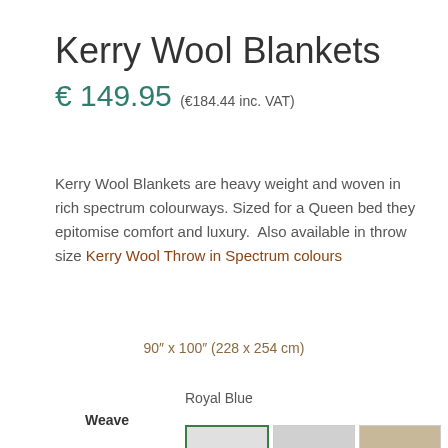Kerry Wool Blankets
€ 149.95 (€184.44 inc. VAT)
Kerry Wool Blankets are heavy weight and woven in rich spectrum colourways. Sized for a Queen bed they epitomise comfort and luxury.  Also available in throw size Kerry Wool Throw in Spectrum colours
90″ x 100″ (228 x 254 cm)
Royal Blue
Weave
[Figure (photo): Three fabric swatches showing different weave patterns — Royal Blue (selected, green border), a second purple-toned swatch, and a third tan/brown swatch, partially cut off at bottom of page.]